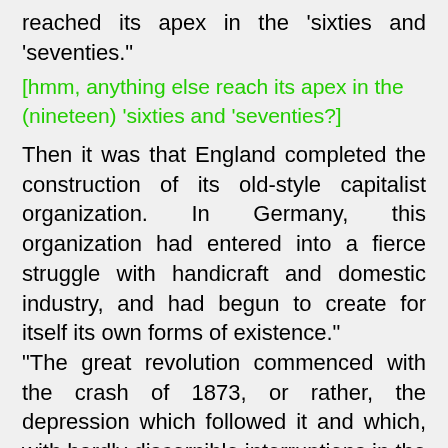reached its apex in the 'sixties and 'seventies."
[hmm, anything else reach its apex in the (nineteen) 'sixties and 'seventies?]
Then it was that England completed the construction of its old-style capitalist organization. In Germany, this organization had entered into a fierce struggle with handicraft and domestic industry, and had begun to create for itself its own forms of existence." "The great revolution commenced with the crash of 1873, or rather, the depression which followed it and which, with hardly discernible interruptions in the early 'eighties, and the unusually violent, but short-lived boom about 1889, marks twenty-two years of European